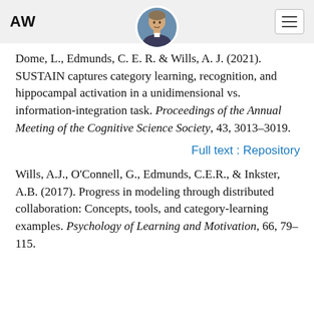AW
Dome, L., Edmunds, C. E. R. & Wills, A. J. (2021). SUSTAIN captures category learning, recognition, and hippocampal activation in a unidimensional vs. information-integration task. Proceedings of the Annual Meeting of the Cognitive Science Society, 43, 3013–3019.
Full text : Repository
Wills, A.J., O'Connell, G., Edmunds, C.E.R., & Inkster, A.B. (2017). Progress in modeling through distributed collaboration: Concepts, tools, and category-learning examples. Psychology of Learning and Motivation, 66, 79–115.